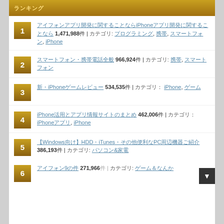ランキング
iPhoneアプリ開発に関することならなんでも 1,471,988件 | カテゴリ: プログラミング, 携帯, スマートフォン, iPhone
スマートフォン・携帯電話全般 966,924件 | カテゴリ: 携帯, スマートフォン
新・iPhoneゲームレビュー 534,535件 | カテゴリ: iPhone, ゲーム
iPhone活用とアプリ情報サイトのまとめ 462,006件 | カテゴリ: iPhoneアプリ, iPhone
【Windows向け】HDD・iTunes・その他便利なPC周辺機器ご紹介 386,193件 | カテゴリ: パソコン&家電
iPhoneの9件 271,966件 | カテゴリ: ゲーム＆なんか